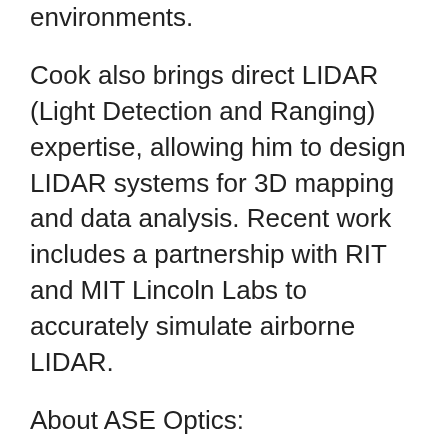environments.
Cook also brings direct LIDAR (Light Detection and Ranging) expertise, allowing him to design LIDAR systems for 3D mapping and data analysis. Recent work includes a partnership with RIT and MIT Lincoln Labs to accurately simulate airborne LIDAR.
About ASE Optics:
ASE Optics (ASEOptics.com) was founded in 1994 to provide optical engineering support for companies who couldn’t find, couldn’t afford, or couldn’t justify having an optical engineer on staff. ASE Optics “sees beyond the lens,” providing elegant optical designs that work within the system, maintaining integrity and seamlessly integrating for optimal performance. Their optical engineering and